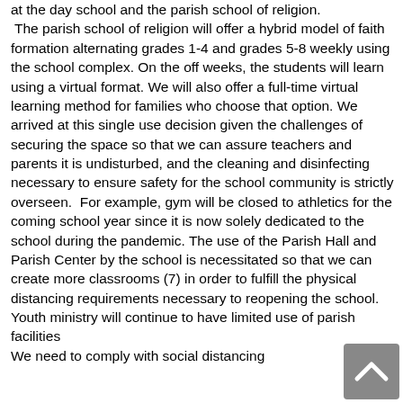at the day school and the parish school of religion. The parish school of religion will offer a hybrid model of faith formation alternating grades 1-4 and grades 5-8 weekly using the school complex. On the off weeks, the students will learn using a virtual format. We will also offer a full-time virtual learning method for families who choose that option. We arrived at this single use decision given the challenges of securing the space so that we can assure teachers and parents it is undisturbed, and the cleaning and disinfecting necessary to ensure safety for the school community is strictly overseen.  For example, gym will be closed to athletics for the coming school year since it is now solely dedicated to the school during the pandemic. The use of the Parish Hall and Parish Center by the school is necessitated so that we can create more classrooms (7) in order to fulfill the physical distancing requirements necessary to reopening the school.
Youth ministry will continue to have limited use of parish facilities
We need to comply with social distancing